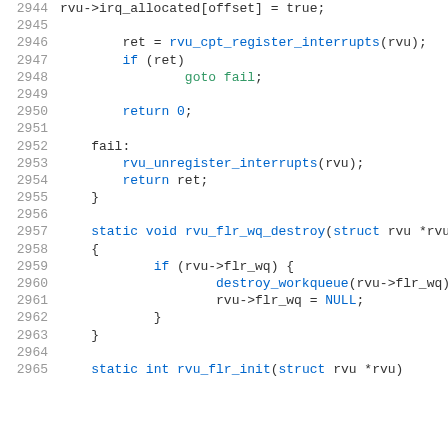[Figure (screenshot): Source code listing showing C code for Linux kernel RVU driver, lines 2944-2965, including rvu_cpt_register_interrupts, rvu_flr_wq_destroy, and rvu_flr_init functions]